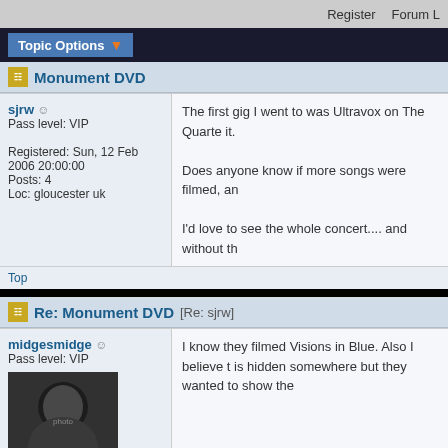Register   Forum L
Topic Options
Monument DVD
sjrw
Pass level: VIP
Registered: Sun, 12 Feb 2006 20:00:00
Posts: 4
Loc: gloucester uk
The first gig I went to was Ultravox on The Quarte it.

Does anyone know if more songs were filmed, an

I'd love to see the whole concert.... and without th
Top
Re: Monument DVD [Re: sjrw]
midgesmidge
Pass level: VIP
Registered: Fri, 19 Apr 2019 20:51:16
Posts: 23
Loc: US
[Figure (photo): Black and white avatar photo of a person]
I know they filmed Visions in Blue. Also I believe t is hidden somewhere but they wanted to show the
Top